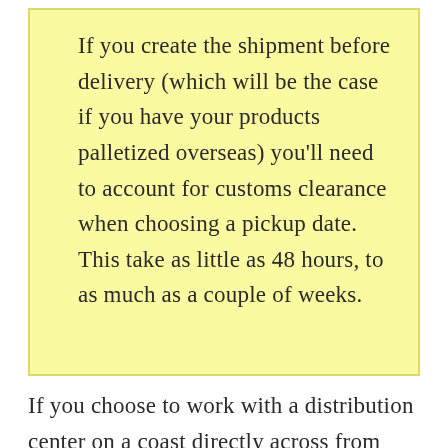If you create the shipment before delivery (which will be the case if you have your products palletized overseas) you'll need to account for customs clearance when choosing a pickup date. This take as little as 48 hours, to as much as a couple of weeks.
If you choose to work with a distribution center on a coast directly across from your manufacturer, you can cut down